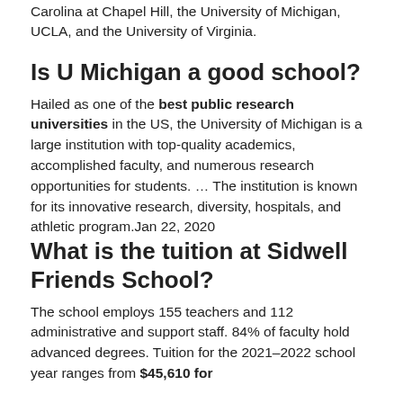Carolina at Chapel Hill, the University of Michigan, UCLA, and the University of Virginia.
Is U Michigan a good school?
Hailed as one of the best public research universities in the US, the University of Michigan is a large institution with top-quality academics, accomplished faculty, and numerous research opportunities for students. … The institution is known for its innovative research, diversity, hospitals, and athletic program.Jan 22, 2020
What is the tuition at Sidwell Friends School?
The school employs 155 teachers and 112 administrative and support staff. 84% of faculty hold advanced degrees. Tuition for the 2021–2022 school year ranges from $45,610 for grades PK-8 to $49,350 for Upper School...